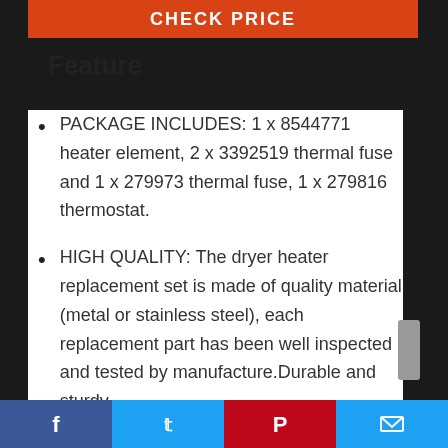[Figure (other): Orange 'CHECK PRICE' button at top of content area]
Feature
PACKAGE INCLUDES: 1 x 8544771 heater element, 2 x 3392519 thermal fuse and 1 x 279973 thermal fuse, 1 x 279816 thermostat.
HIGH QUALITY: The dryer heater replacement set is made of quality material (metal or stainless steel), each replacement part has been well inspected and tested by manufacture.Durable and sturdy,
Facebook | Twitter | Pinterest | Email social share bar